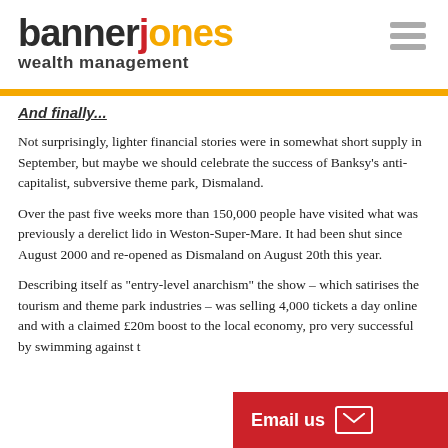[Figure (logo): Banner Jones Wealth Management logo with hamburger menu icon]
And finally...
Not surprisingly, lighter financial stories were in somewhat short supply in September, but maybe we should celebrate the success of Banksy's anti-capitalist, subversive theme park, Dismaland.
Over the past five weeks more than 150,000 people have visited what was previously a derelict lido in Weston-Super-Mare. It had been shut since August 2000 and re-opened as Dismaland on August 20th this year.
Describing itself as "entry-level anarchism" the show – which satirises the tourism and theme park industries – was selling 4,000 tickets a day online and with a claimed £20m boost to the local economy, proven to be very successful by swimming against t…